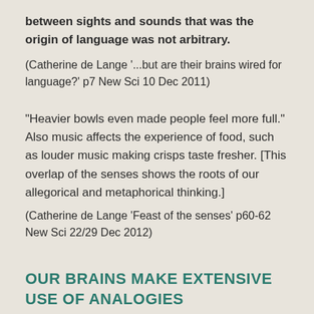between sights and sounds that was the origin of language was not arbitrary.
(Catherine de Lange '...but are their brains wired for language?' p7 New Sci 10 Dec 2011)
“Heavier bowls even made people feel more full.” Also music affects the experience of food, such as louder music making crisps taste fresher. [This overlap of the senses shows the roots of our allegorical and metaphorical thinking.]
(Catherine de Lange ‘Feast of the senses’ p60-62 New Sci 22/29 Dec 2012)
OUR BRAINS MAKE EXTENSIVE USE OF ANALOGIES